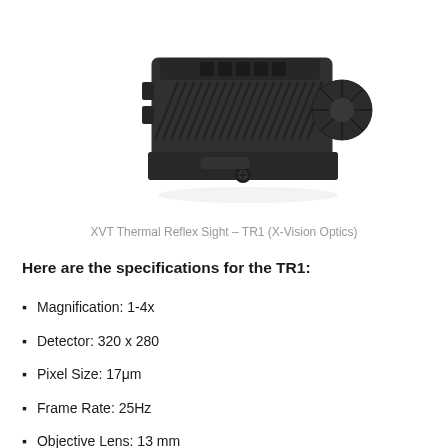[Figure (photo): Photo of XVT Thermal Reflex Sight TR1 device — a black compact rectangular optic with ridged/textured housing, adjustment dial on right side, and mounting base with a small screw/pin on bottom, viewed from a front-left angle on white background.]
XVT Thermal Reflex Sight – TR1 (X-Vision Optics)
Here are the specifications for the TR1:
Magnification: 1-4x
Detector: 320 x 280
Pixel Size: 17μm
Frame Rate: 25Hz
Objective Lens: 13 mm